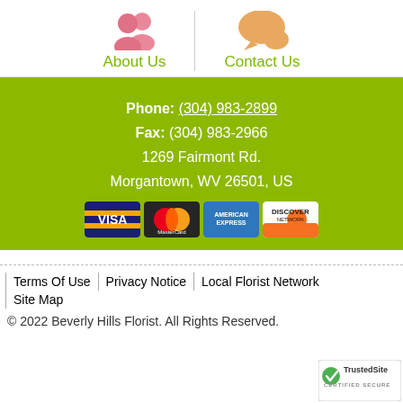[Figure (illustration): Two pink user/people icons representing About Us navigation link]
About Us
[Figure (illustration): Orange speech bubble icon representing Contact Us navigation link]
Contact Us
Phone: (304) 983-2899
Fax: (304) 983-2966
1269 Fairmont Rd.
Morgantown, WV 26501, US
[Figure (illustration): Payment method logos: Visa, MasterCard, American Express, Discover]
Terms Of Use
Privacy Notice
Local Florist Network
Site Map
© 2022 Beverly Hills Florist. All Rights Reserved.
[Figure (logo): TrustedSite Certified Secure badge]